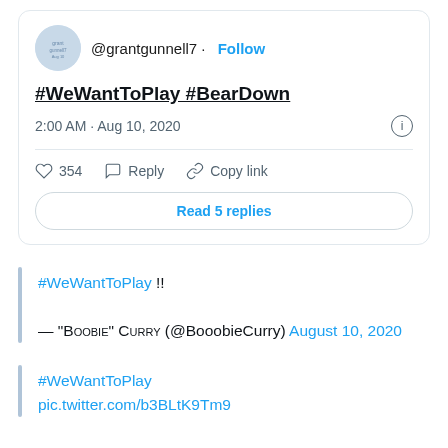[Figure (screenshot): Tweet card from @grantgunnell7 with text '#WeWantToPlay #BearDown', timestamp '2:00 AM · Aug 10, 2020', 354 likes, Reply, Copy link actions, and Read 5 replies button]
#WeWantToPlay !!
— "Boobie" Curry (@BooobieCurry) August 10, 2020
#WeWantToPlay
pic.twitter.com/b3BLtK9Tm9